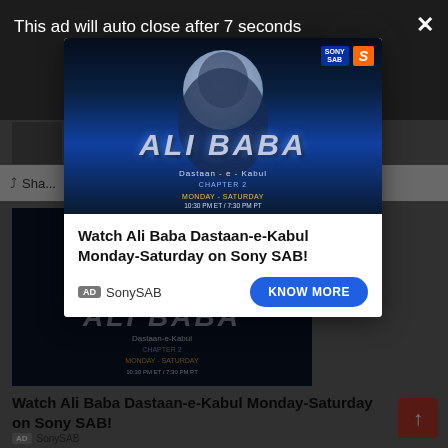This ad will auto close after 7 seconds
[Figure (screenshot): Background page content showing dimmed website with Ali Baba show thumbnail]
Share
[Figure (illustration): Ali Baba Dastaan-e-Kabul advertisement modal with show poster featuring a man with moonlit background. Sony SAB logo in top right. Title text: ALI BABA Dastaan-e-Kabul Chapter 2, channel info and airtimes 10:30 PM ET / 7:30 PM PT.]
Watch Ali Baba Dastaan-e-Kabul Monday-Saturday on Sony SAB!
AD SonySAB
KNOW MORE
Watch Ali Baba Dastaan-e-Kabul Monday-Saturday on Sony SAB!
KNOW MORE